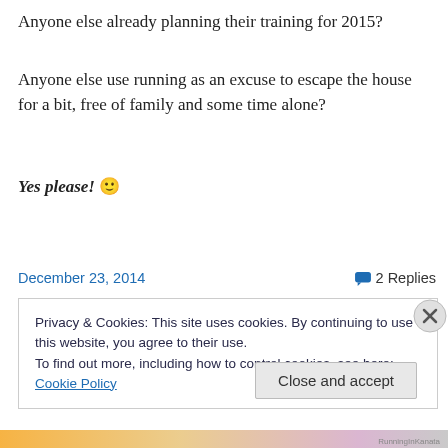Anyone else already planning their training for 2015?
Anyone else use running as an excuse to escape the house for a bit, free of family and some time alone?
Yes please! 🙂
December 23, 2014    💬 2 Replies
Privacy & Cookies: This site uses cookies. By continuing to use this website, you agree to their use.
To find out more, including how to control cookies, see here: Cookie Policy
Close and accept